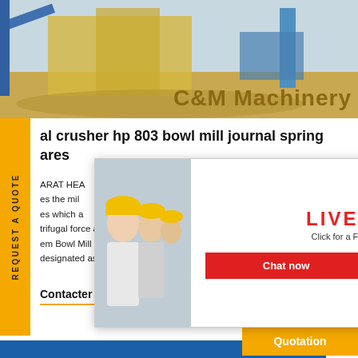[Figure (photo): Industrial machinery facility header photo with yellow text 'C&M Machinery']
al crusher hp 803 bowl mill journal spring ares
ARAT HEA es the mil es which a trifugal force and are removed through em Bowl Mill Nomenclature Designati designated as XRS whereas pressurize
[Figure (photo): Live Chat popup showing workers in hard hats and a customer service agent. Includes LIVE CHAT heading, 'Click for a Free Consultation', Chat now and Chat later buttons.]
[Figure (photo): Right-side popup with female customer service agent wearing headset, 'Have any requests, click here.' text, and Quotation button]
Contacter le Vendeur